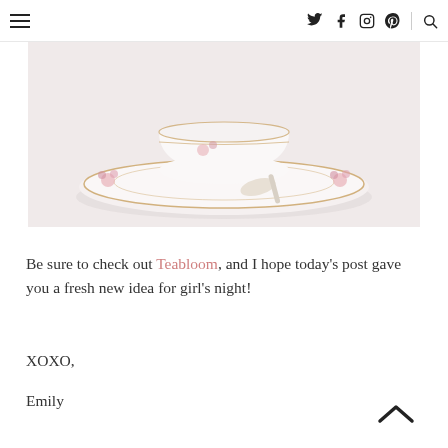Navigation bar with hamburger menu, Twitter, Facebook, Instagram, Pinterest, more, and search icons
[Figure (photo): Close-up photo of a white porcelain teacup saucer with pink floral pattern and gold rim, with a small spoon resting on it, on a white background]
Be sure to check out Teabloom, and I hope today's post gave you a fresh new idea for girl's night!
XOXO,
Emily